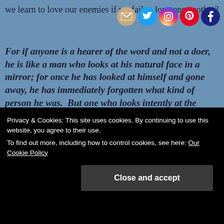we learn to love our enemies if we fail to love one another?
[Figure (infographic): Row of 5 social media icon circles: email (tan/beige), Twitter (blue), Instagram (purple/orange gradient), Pinterest (red), Facebook (dark blue)]
For if anyone is a hearer of the word and not a doer, he is like a man who looks at his natural face in a mirror; for once he has looked at himself and gone away, he has immediately forgotten what kind of person he was.  But one who looks intently at the perfect law, the law of liberty, and abides by it, not having become a forgetful hearer but an effectual doer, this man will be blessed
Privacy & Cookies: This site uses cookies. By continuing to use this website, you agree to their use.
To find out more, including how to control cookies, see here: Our Cookie Policy
Close and accept